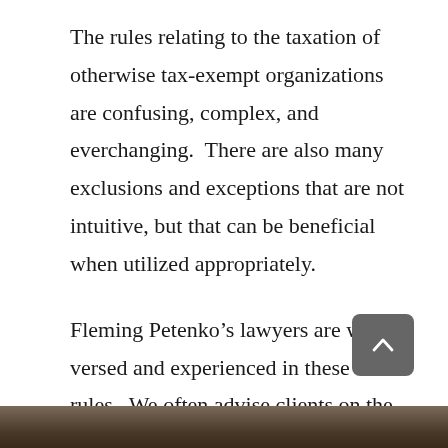The rules relating to the taxation of otherwise tax-exempt organizations are confusing, complex, and everchanging. There are also many exclusions and exceptions that are not intuitive, but that can be beneficial when utilized appropriately.
Fleming Petenko’s lawyers are well-versed and experienced in these UBIT rules. We often advise clients on the best way to structure transactions to efficiently navigate the rules to achieve the optimal tax benefits.
[Figure (photo): Partial bottom strip showing a dark wooden or stone surface photo]